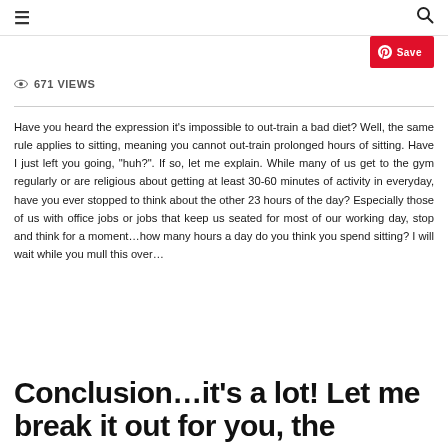≡   🔍
Save
671 VIEWS
Have you heard the expression it's impossible to out-train a bad diet? Well, the same rule applies to sitting, meaning you cannot out-train prolonged hours of sitting. Have I just left you going, "huh?". If so, let me explain. While many of us get to the gym regularly or are religious about getting at least 30-60 minutes of activity in everyday, have you ever stopped to think about the other 23 hours of the day? Especially those of us with office jobs or jobs that keep us seated for most of our working day, stop and think for a moment…how many hours a day do you think you spend sitting? I will wait while you mull this over…
Conclusion…it's a lot! Let me break it out for you, the average